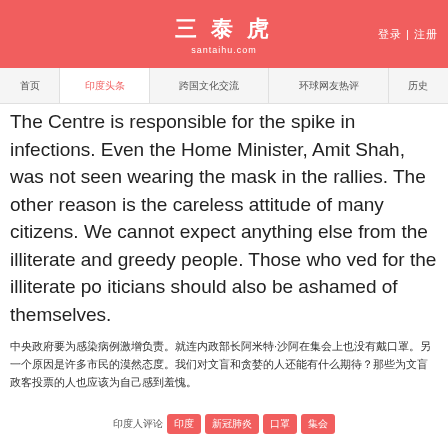三泰虎 santaihu.com 登录 | 注册
首页 印度头条 跨国文化交流 环球网友热评 历史
The Centre is responsible for the spike in infections. Even the Home Minister, Amit Shah, was not seen wearing the mask in the rallies. The other reason is the careless attitude of many citizens. We cannot expect anything else from the illiterate and greedy people. Those who ved for the illiterate po iticians should also be ashamed of themselves.
中央政府要为感染病例激增负责。就连内政部长阿米特·沙阿在集会上也没有戴口罩。另一个原因是许多市民的漠然态度。我们对文盲和贪婪的人还能有什么期待？那些为文盲政客投票的人也应该为自己感到羞愧。
印度人评论 印度 新冠肺炎 口罩 集会